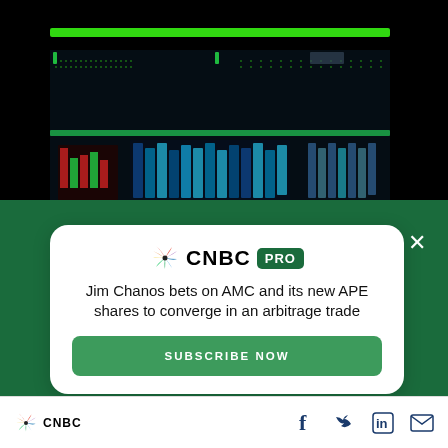[Figure (photo): Laptop computer with trading/financial data displayed on screen, dark background with green glowing elements and keyboard visible]
[Figure (logo): CNBC PRO logo — peacock icon, CNBC text in bold, PRO badge in green]
Jim Chanos bets on AMC and its new APE shares to converge in an arbitrage trade
SUBSCRIBE NOW
[Figure (logo): CNBC peacock logo in footer]
CNBC — social icons: Facebook, Twitter, LinkedIn, Email